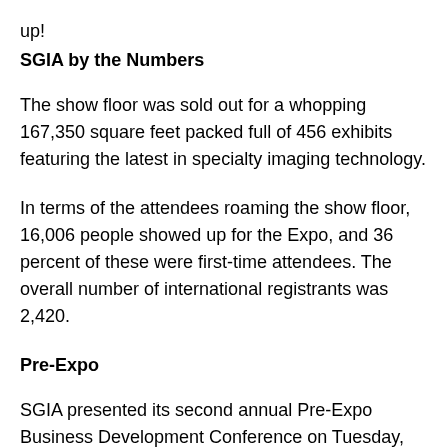up!
SGIA by the Numbers
The show floor was sold out for a whopping 167,350 square feet packed full of 456 exhibits featuring the latest in specialty imaging technology.
In terms of the attendees roaming the show floor, 16,006 people showed up for the Expo, and 36 percent of these were first-time attendees. The overall number of international registrants was 2,420.
Pre-Expo
SGIA presented its second annual Pre-Expo Business Development Conference on Tuesday, October 18, the day before the Expo floor opened. Attendees learned tactics and